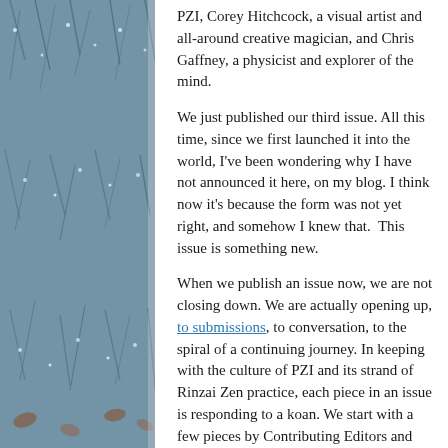PZI, Corey Hitchcock, a visual artist and all-around creative magician, and Chris Gaffney, a physicist and explorer of the mind.
We just published our third issue. All this time, since we first launched it into the world, I've been wondering why I have not announced it here, on my blog. I think now it's because the form was not yet right, and somehow I knew that.  This issue is something new.
When we publish an issue now, we are not closing down. We are actually opening up, to submissions, to conversation, to the spiral of a continuing journey. In keeping with the culture of PZI and its strand of Rinzai Zen practice, each piece in an issue is responding to a koan. We start with a few pieces by Contributing Editors and invited writers and artists, and then ask for more. This issue, called "With Each Stitch, the World Spews Flames," is all about this koan-story, and the embers it sparks and leaves behind: